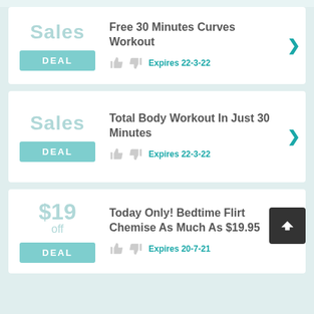Sales
DEAL
Free 30 Minutes Curves Workout
Expires 22-3-22
Sales
DEAL
Total Body Workout In Just 30 Minutes
Expires 22-3-22
$19 off
DEAL
Today Only! Bedtime Flirt Chemise As Much As $19.95
Expires 20-7-21